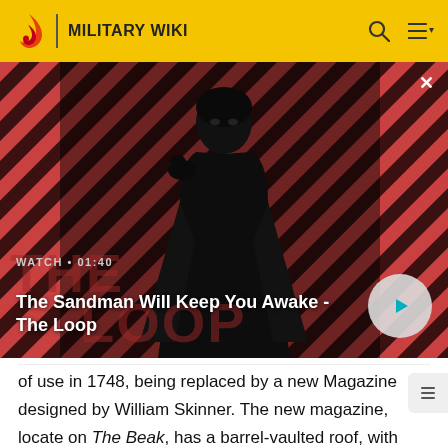MILITARY WIKI
[Figure (screenshot): Video thumbnail showing a dark-cloaked figure with a raven on shoulder, against a red and black diagonal striped background. Title reads 'The Sandman Will Keep You Awake - The Loop'. Watch time 01:40.]
WATCH • 01:40
The Sandman Will Keep You Awake - The Loop
of use in 1748, being replaced by a new Magazine designed by William Skinner. The new magazine, located on The Beak, has a barrel-vaulted roof, with double doors and indirect ventilation. It was designed to hold 150 barrels.[4]